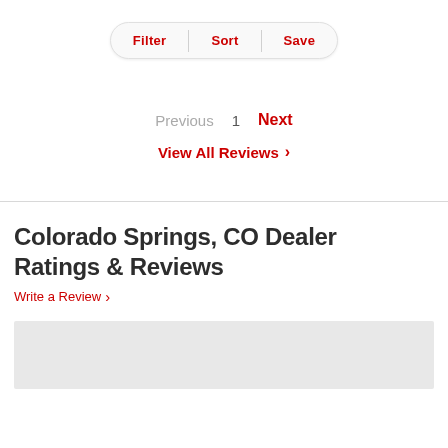[Figure (screenshot): Filter, Sort, Save pill-shaped button bar]
Previous  1  Next
View All Reviews >
Colorado Springs, CO Dealer Ratings & Reviews
Write a Review >
[Figure (other): Gray placeholder content block]